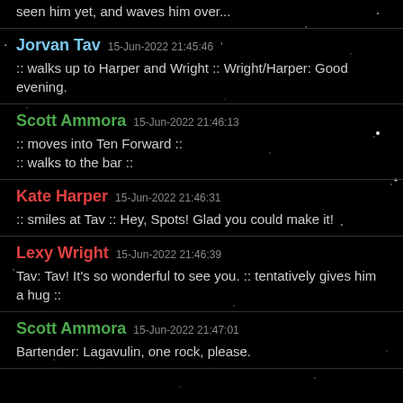seen him yet, and waves him over...
Jorvan Tav  15-Jun-2022 21:45:46
:: walks up to Harper and Wright :: Wright/Harper: Good evening.
Scott Ammora  15-Jun-2022 21:46:13
:: moves into Ten Forward ::
:: walks to the bar ::
Kate Harper  15-Jun-2022 21:46:31
:: smiles at Tav :: Hey, Spots! Glad you could make it!
Lexy Wright  15-Jun-2022 21:46:39
Tav: Tav! It's so wonderful to see you. :: tentatively gives him a hug ::
Scott Ammora  15-Jun-2022 21:47:01
Bartender: Lagavulin, one rock, please.